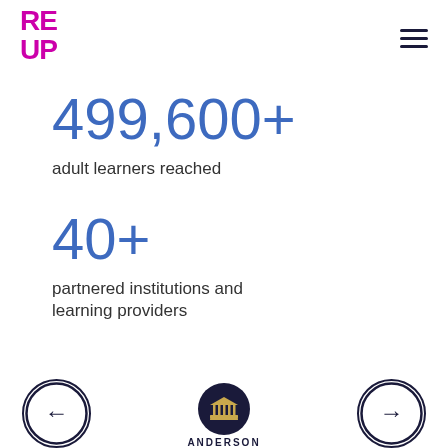[Figure (logo): ReUp Education logo with RE UP text in magenta/pink bold font]
[Figure (infographic): Hamburger menu icon (three horizontal lines) in dark navy]
499,600+
adult learners reached
40+
partnered institutions and learning providers
[Figure (logo): Left navigation arrow in circle]
[Figure (logo): Anderson University circular emblem logo in dark navy gold]
ANDERSON
[Figure (logo): Right navigation arrow in circle]